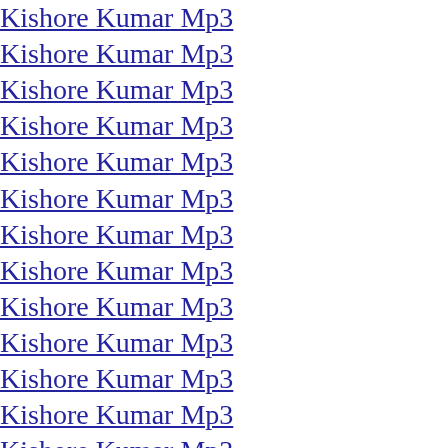Kishore Kumar Mp3
Kishore Kumar Mp3
Kishore Kumar Mp3
Kishore Kumar Mp3
Kishore Kumar Mp3
Kishore Kumar Mp3
Kishore Kumar Mp3
Kishore Kumar Mp3
Kishore Kumar Mp3
Kishore Kumar Mp3
Kishore Kumar Mp3
Kishore Kumar Mp3
Kishore Kumar Mp3
Kishore Kumar Mp3
Kishore Kumar Mp3
Kishore Kumar Mp3
Kishore Kumar Mp3
Kishore Kumar Mp3
Kishore Kumar Mp3
Kishore Kumar Mp3
Kishore Kumar Mp3
Kishore Kumar Mp3
Kishore Kumar Mp3
Kishore Kumar Mp3
Kishore Kumar Mp3
Kishore Kumar Mp3